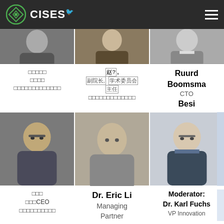CISES
[Figure (photo): Three partially visible portrait photos of speakers in top row]
Person 1 (Chinese name/role) | 赵,, 副院长, 学术委员会 主任 (corrupted characters) | Ruurd Boomsma CTO Besi
[Figure (photo): Three portrait photos: Asian man with glasses in suit, young Asian man in black and white photo, older European man with glasses in suit]
CEO (Chinese name) | Dr. Eric Li Managing Partner | Moderator: Dr. Karl Fuchs VP Innovation